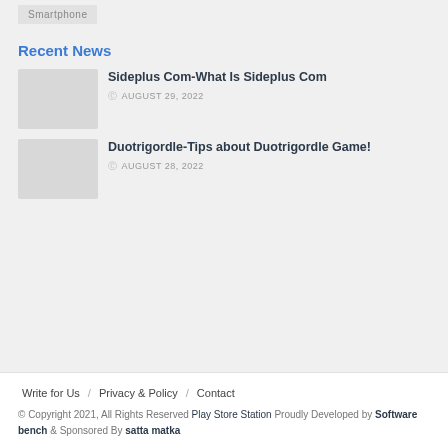Smartphone
Recent News
Sideplus Com-What Is Sideplus Com
AUGUST 29, 2022
Duotrigordle-Tips about Duotrigordle Game!
AUGUST 28, 2022
Write for Us / Privacy & Policy / Contact
© Copyright 2021, All Rights Reserved Play Store Station Proudly Developed by Software bench & Sponsored By satta matka